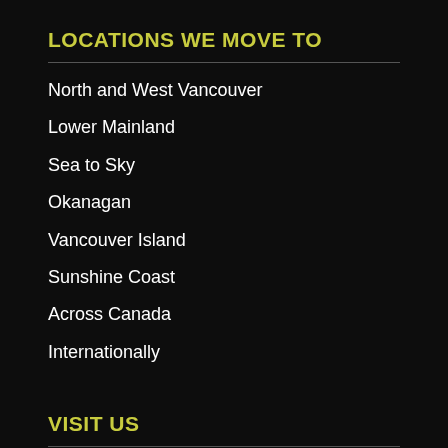LOCATIONS WE MOVE TO
North and West Vancouver
Lower Mainland
Sea to Sky
Okanagan
Vancouver Island
Sunshine Coast
Across Canada
Internationally
VISIT US
1550 Bay Street,
North Vancouver, BC